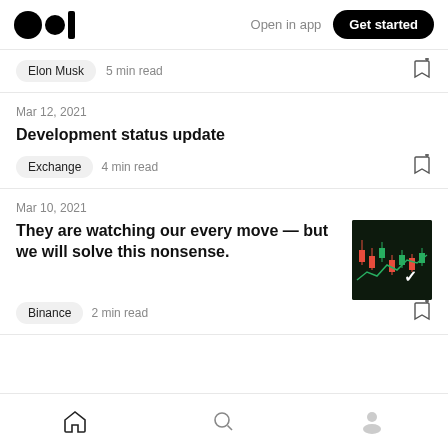Medium logo | Open in app | Get started
Elon Musk  5 min read
Mar 12, 2021
Development status update
Exchange  4 min read
Mar 10, 2021
They are watching our every move — but we will solve this nonsense.
[Figure (photo): Stock chart thumbnail showing candlestick chart with red and green candles on dark background]
Binance  2 min read
Home | Search | Profile